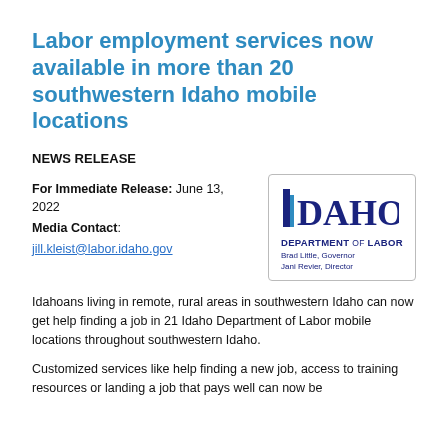Labor employment services now available in more than 20 southwestern Idaho mobile locations
NEWS RELEASE
For Immediate Release: June 13, 2022
Media Contact: jill.kleist@labor.idaho.gov
[Figure (logo): Idaho Department of Labor logo with text: IDAHO DEPARTMENT OF LABOR, Brad Little, Governor, Jani Revier, Director]
Idahoans living in remote, rural areas in southwestern Idaho can now get help finding a job in 21 Idaho Department of Labor mobile locations throughout southwestern Idaho.
Customized services like help finding a new job, access to training resources or landing a job that pays well can now be